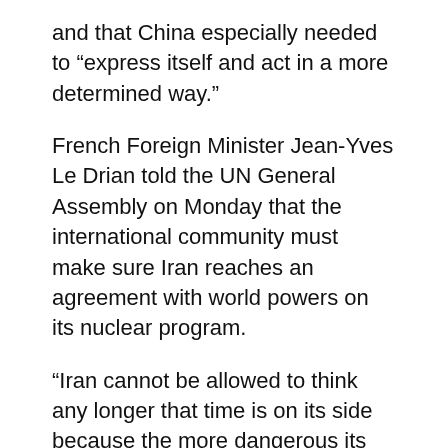and that China especially needed to “express itself and act in a more determined way.”
French Foreign Minister Jean-Yves Le Drian told the UN General Assembly on Monday that the international community must make sure Iran reaches an agreement with world powers on its nuclear program.
“Iran cannot be allowed to think any longer that time is on its side because the more dangerous its nuclear program becomes, the greater the risk of a major crisis,” Le Drian told the Assembly.
Iran in June suspended negotiations with world powers taking place in Vienna since April, saying its new president elected that month needed time ot form a government.
The United States, the United Kingdom, France